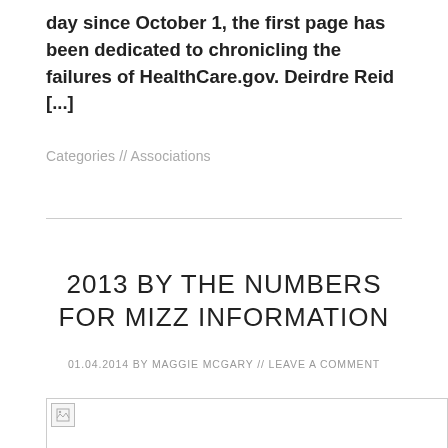day since October 1, the first page has been dedicated to chronicling the failures of HealthCare.gov. Deirdre Reid [...]
Categories // Associations
2013 BY THE NUMBERS FOR MIZZ INFORMATION
01.04.2014 by MAGGIE MCGARY // LEAVE A COMMENT
[Figure (photo): Image placeholder with broken image icon]